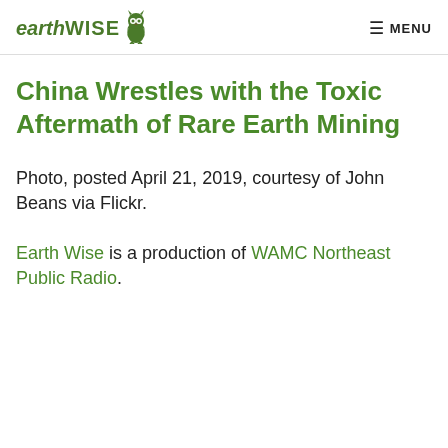earthWISE  MENU
China Wrestles with the Toxic Aftermath of Rare Earth Mining
Photo, posted April 21, 2019, courtesy of John Beans via Flickr.
Earth Wise is a production of WAMC Northeast Public Radio.